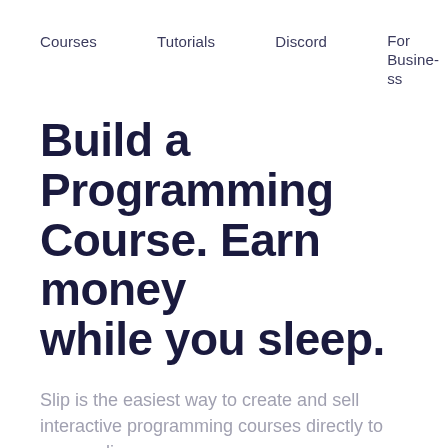Courses   Tutorials   Discord   For Business
Build a Programming Course. Earn money while you sleep.
Slip is the easiest way to create and sell interactive programming courses directly to your audience.
Start Building